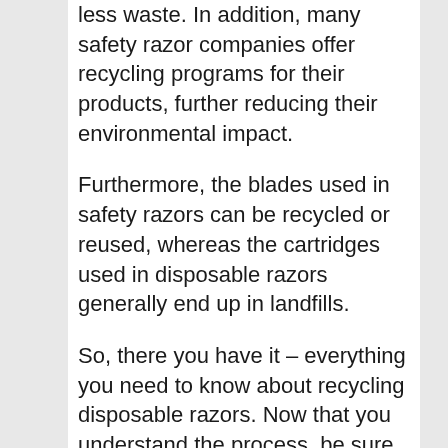less waste. In addition, many safety razor companies offer recycling programs for their products, further reducing their environmental impact.
Furthermore, the blades used in safety razors can be recycled or reused, whereas the cartridges used in disposable razors generally end up in landfills.
So, there you have it – everything you need to know about recycling disposable razors. Now that you understand the process, be sure to spread the word and encourage others to do their part in keeping our planet healthy! Already following